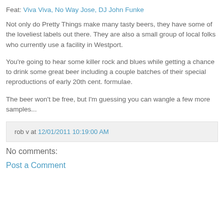Feat: Viva Viva, No Way Jose, DJ John Funke
Not only do Pretty Things make many tasty beers, they have some of the loveliest labels out there. They are also a small group of local folks who currently use a facility in Westport.
You're going to hear some killer rock and blues while getting a chance to drink some great beer including a couple batches of their special reproductions of early 20th cent. formulae.
The beer won't be free, but I'm guessing you can wangle a few more samples...
rob v at 12/01/2011 10:19:00 AM
No comments:
Post a Comment